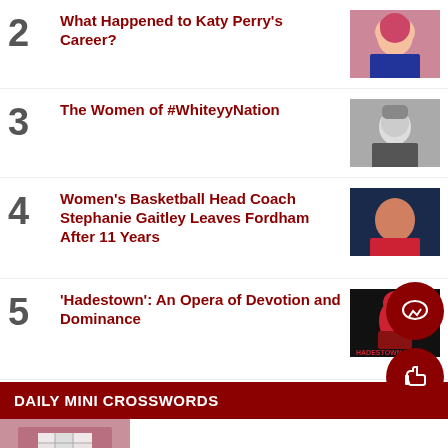2 What Happened to Katy Perry's Career?
3 The Women of #WhiteyyNation
4 Women's Basketball Head Coach Stephanie Gaitley Leaves Fordham After 11 Years
5 'Hadestown': An Opera of Devotion and Dominance
DAILY MINI CROSSWORDS
[Figure (photo): Crossword puzzle thumbnail image]